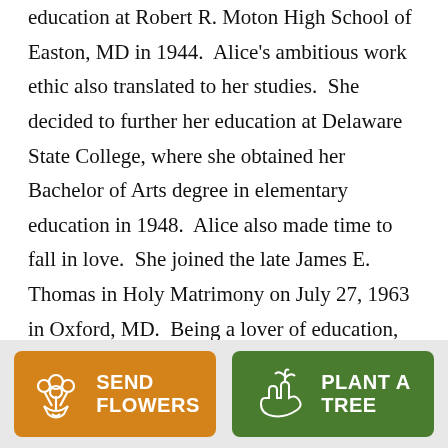education at Robert R. Moton High School of Easton, MD in 1944.  Alice's ambitious work ethic also translated to her studies.  She decided to further her education at Delaware State College, where she obtained her Bachelor of Arts degree in elementary education in 1948.  Alice also made time to fall in love.  She joined the late James E. Thomas in Holy Matrimony on July 27, 1963 in Oxford, MD.  Being a lover of education, Aunt Alice went on to obtain her Master's in Education from Towson University in 1970, while also working as a teacher in the Baltimore County Public School System.  In addition, Aunt Alice
SEND FLOWERS | PLANT A TREE